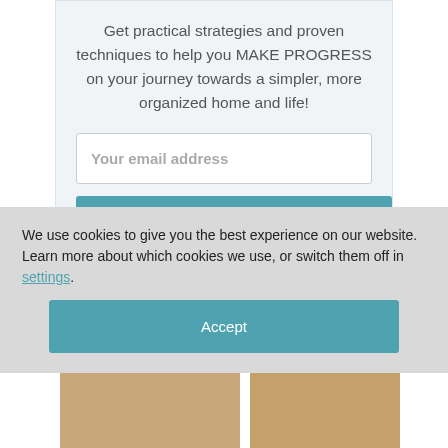Get practical strategies and proven techniques to help you MAKE PROGRESS on your journey towards a simpler, more organized home and life!
Your email address
JOIN NOW
We use cookies to give you the best experience on our website.
Learn more about which cookies we use, or switch them off in settings.
Accept